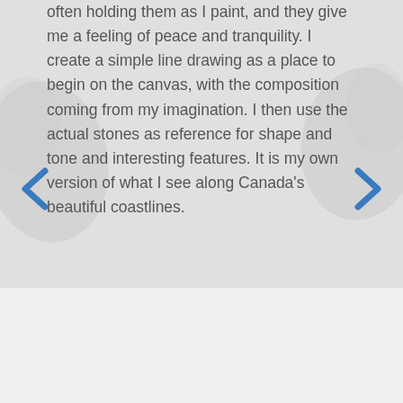often holding them as I paint, and they give me a feeling of peace and tranquility. I create a simple line drawing as a place to begin on the canvas, with the composition coming from my imagination. I then use the actual stones as reference for shape and tone and interesting features. It is my own version of what I see along Canada's beautiful coastlines.
[Figure (illustration): Navigation arrow chevron pointing left, blue color]
[Figure (illustration): Navigation arrow chevron pointing right, blue color]